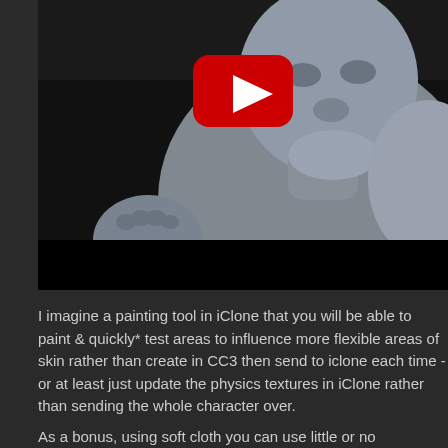[Figure (screenshot): A 3D character model of a heavyset bald figure with a raised fist, rendered in gray/blue clay-like shading against a dark background. A YouTube play button overlay is visible in the upper center of the image. The bottom portion of the video frame is black.]
I imagine a painting tool in iClone that you will be able to paint & quickly* test areas to influence more flexible areas of skin rather than create in CC3 then send to iclone each time - or at least just update the physics textures in iClone rather than sending the whole character over.
As a bonus, using soft cloth you can use little or no tessellation if you have a character that uses displacement in their skin to create actual physical bumpiness rather than rely on normal